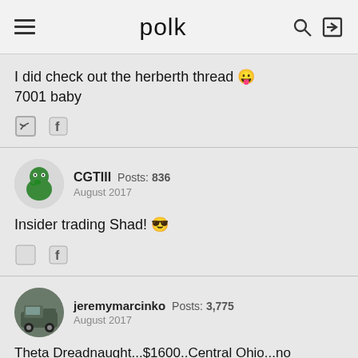polk
I did check out the herberth thread 😛 7001 baby
CGTIII  Posts: 836  August 2017
Insider trading Shad! 😎
jeremymarcinko  Posts: 3,775  August 2017
Theta Dreadnaught...$1600..Central Ohio...no affiliation.